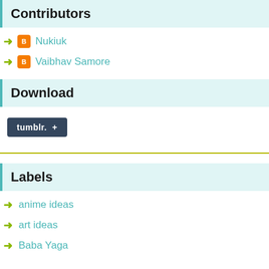Contributors
Nukiuk
Vaibhav Samore
Download
[Figure (other): Tumblr follow button with plus sign]
Labels
anime ideas
art ideas
Baba Yaga